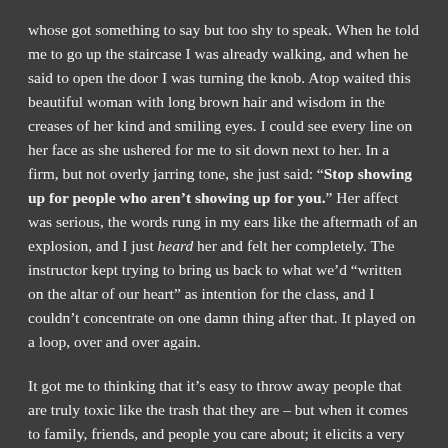whose got something to say but too shy to speak. When he told me to go up the staircase I was already walking, and when he said to open the door I was turning the knob. Atop waited this beautiful woman with long brown hair and wisdom in the creases of her kind and smiling eyes. I could see every line on her face as she ushered for me to sit down next to her. In a firm, but not overly jarring tone, she just said: “Stop showing up for people who aren’t showing up for you.” Her affect was serious, the words rung in my ears like the aftermath of an explosion, and I just heard her and felt her completely. The instructor kept trying to bring us back to what we’d “written on the altar of our heart” as intention for the class, and I couldn’t concentrate on one damn thing after that. It played on a loop, over and over again.
It got me to thinking that it’s easy to throw away people that are truly toxic like the trash that they are – but when it comes to family, friends, and people you care about; it elicits a very different situation. Sometimes you put yourself in a position, and I do this with my Mother, where you give and give and give, and